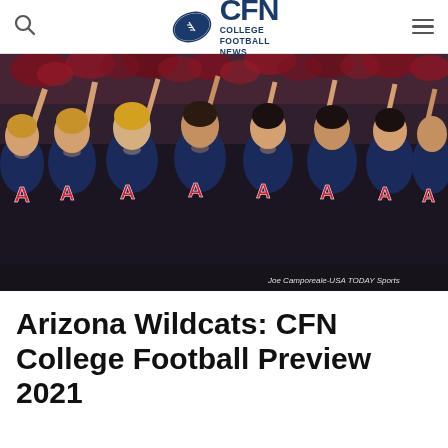CFN COLLEGE FOOTBALL NEWS
[Figure (photo): Arizona Wildcats cheerleaders in navy uniforms with the letter A logo, raising pom poms. Photo credit: Joe Camporeale-USA TODAY Sports]
Joe Camporeale-USA TODAY Sports
Arizona Wildcats: CFN College Football Preview 2021